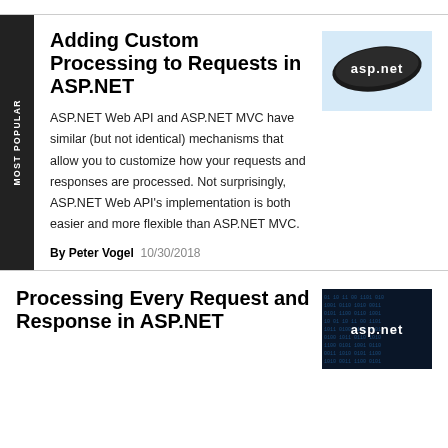Adding Custom Processing to Requests in ASP.NET
[Figure (illustration): asp.net logo on dark brushstroke background]
ASP.NET Web API and ASP.NET MVC have similar (but not identical) mechanisms that allow you to customize how your requests and responses are processed. Not surprisingly, ASP.NET Web API's implementation is both easier and more flexible than ASP.NET MVC.
By Peter Vogel  10/30/2018
Processing Every Request and Response in ASP.NET
[Figure (illustration): asp.net logo on dark digital/code background]